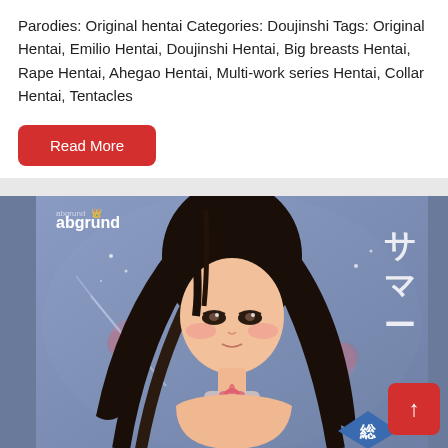Parodies: Original hentai Categories: Doujinshi Tags: Original Hentai, Emilio Hentai, Doujinshi Hentai, Big breasts Hentai, Rape Hentai, Ahegao Hentai, Multi-work series Hentai, Collar Hentai, Tentacles
Read More
[Figure (illustration): Manga/doujinshi cover art showing an anime-style girl with long black hair, wearing a collar with rose decoration, against a blue/purple background with rose petals. Text 'abgrund' in white in upper left. Japanese characters on the right side. Diamond shape with kanji '総' in lower right.]